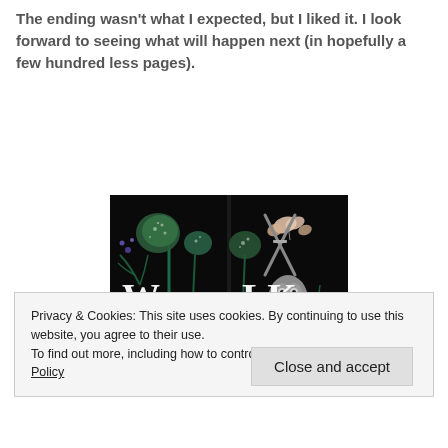The ending wasn't what I expected, but I liked it. I look forward to seeing what will happen next (in hopefully a few hundred less pages).
[Figure (illustration): Book cover image for 'Wylk' featuring dark floral botanical illustration with plants, a snake, an owl, and a butterfly on black background, shown in two panels side by side.]
Privacy & Cookies: This site uses cookies. By continuing to use this website, you agree to their use. To find out more, including how to control cookies, see here: Cookie Policy
Close and accept